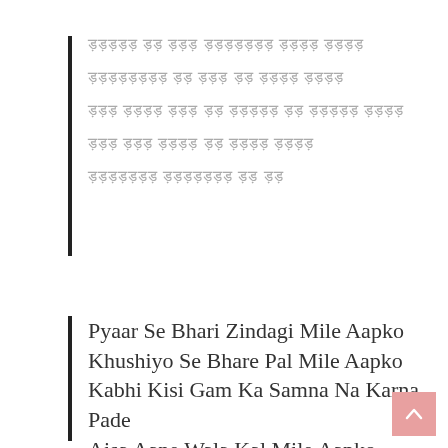Hindi script verse lines (transliteration block 1): 5 lines of Hindi/Devanagari text rendered in light gray
Pyaar Se Bhari Zindagi Mile Aapko
Khushiyo Se Bhare Pal Mile Aapko
Kabhi Kisi Gam Ka Samna Na Karna Pade
Aisa Aane Wala Kal Mile Aapko